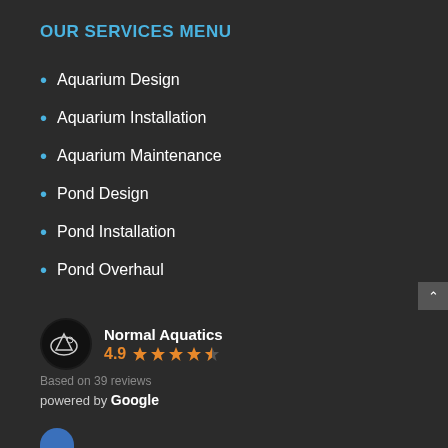OUR SERVICES MENU
Aquarium Design
Aquarium Installation
Aquarium Maintenance
Pond Design
Pond Installation
Pond Overhaul
Normal Aquatics 4.9 ★★★★½ Based on 39 reviews powered by Google